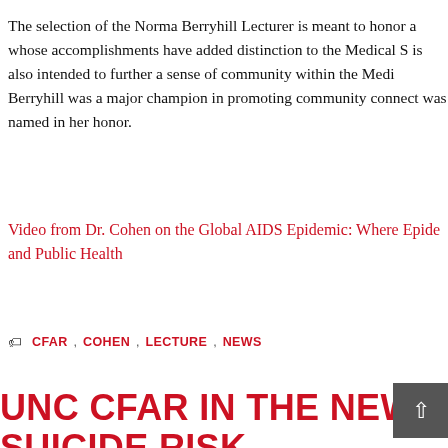The selection of the Norma Berryhill Lecturer is meant to honor a whose accomplishments have added distinction to the Medical S is also intended to further a sense of community within the Medi Berryhill was a major champion in promoting community connect was named in her honor.
Video from Dr. Cohen on the Global AIDS Epidemic: Where Epide and Public Health
CFAR , COHEN , LECTURE , NEWS
UNC CFAR IN THE NEWS: HIV DRUG LINKI SUICIDE RISK